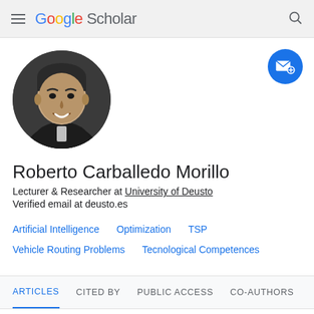Google Scholar
[Figure (photo): Circular black-and-white profile photo of Roberto Carballedo Morillo, a man in a dark sweater with a collared shirt]
Roberto Carballedo Morillo
Lecturer & Researcher at University of Deusto
Verified email at deusto.es
Artificial Intelligence
Optimization
TSP
Vehicle Routing Problems
Tecnological Competences
ARTICLES   CITED BY   PUBLIC ACCESS   CO-AUTHORS
SORT ▼   CITED BY